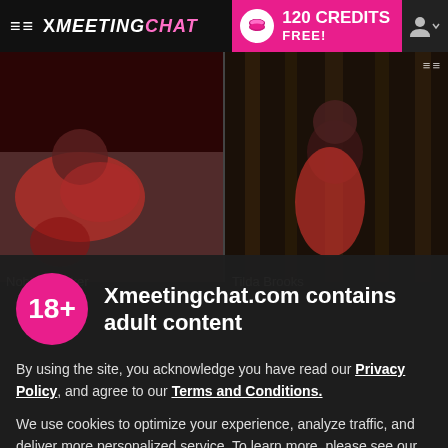XMEETINGCHAT | 120 CREDITS FREE!
[Figure (photo): Two photos of women in red clothing on dark background. Left photo: dark-haired woman in red lace bodysuit on bed. Right photo: dark-haired woman in red corset against wooden wall.]
Nobilis Walker
Tilda Brooks
18+
Xmeetingchat.com contains adult content
By using the site, you acknowledge you have read our Privacy Policy, and agree to our Terms and Conditions.
We use cookies to optimize your experience, analyze traffic, and deliver more personalized service. To learn more, please see our Privacy Policy.
I AGREE